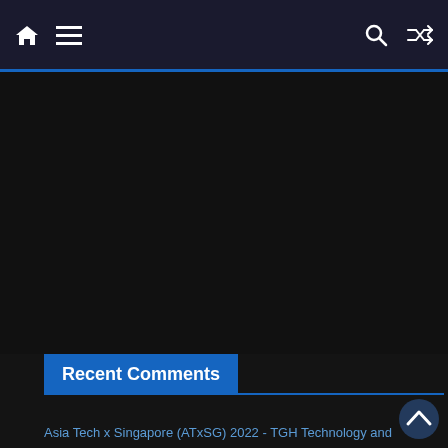Navigation bar with home, menu, search, and shuffle icons
Recent Comments
Asia Tech x Singapore (ATxSG) 2022 - TGH Technology and Business Portal/Blog on Asia Tech x Singapore 2022 taking place from 31 May – 3 June